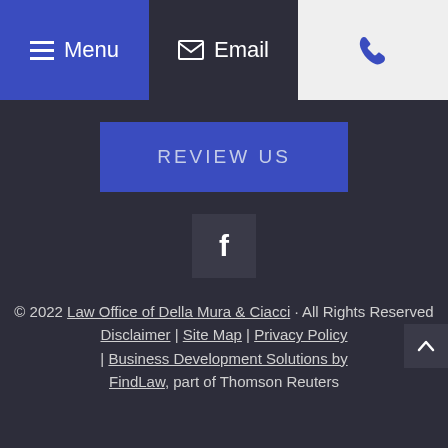Menu | Email | Phone
REVIEW US
[Figure (illustration): Facebook social media icon button (dark square with white 'f' letter)]
© 2022 Law Office of Della Mura & Ciacci · All Rights Reserved Disclaimer | Site Map | Privacy Policy | Business Development Solutions by FindLaw, part of Thomson Reuters